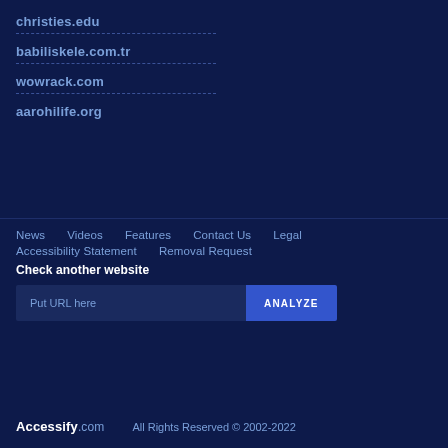christies.edu
babiliskele.com.tr
wowrack.com
aarohilife.org
News   Videos   Features   Contact Us   Legal   Accessibility Statement   Removal Request
Check another website
Put URL here
ANALYZE
Accessify.com   All Rights Reserved © 2002-2022